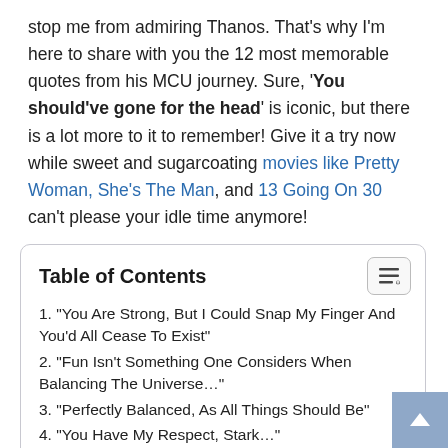stop me from admiring Thanos. That's why I'm here to share with you the 12 most memorable quotes from his MCU journey. Sure, 'You should've gone for the head' is iconic, but there is a lot more to it to remember! Give it a try now while sweet and sugarcoating movies like Pretty Woman, She's The Man, and 13 Going On 30 can't please your idle time anymore!
Table of Contents
1. "You Are Strong, But I Could Snap My Finger And You'd All Cease To Exist"
2. "Fun Isn't Something One Considers When Balancing The Universe..."
3. "Perfectly Balanced, As All Things Should Be"
4. "You Have My Respect, Stark..."
5. "You're Not The Only One With Cursed Knowledge"
6. "I Know What's Like To Lose"
7. "You Were Going To Bed Hungry, Scrouging For Scraps"